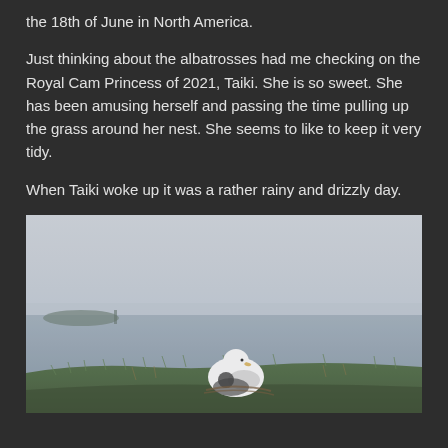the 18th of June in North America.
Just thinking about the albatrosses had me checking on the Royal Cam Princess of 2021, Taiki. She is so sweet. She has been amusing herself and passing the time pulling up the grass around her nest. She seems to like to keep it very tidy.
When Taiki woke up it was a rather rainy and drizzly day.
[Figure (photo): A white albatross (Taiki) sitting on a grassy coastal nest on a rainy, drizzly day. The background shows a grey overcast sky and calm water. A small landmass is visible on the left horizon.]